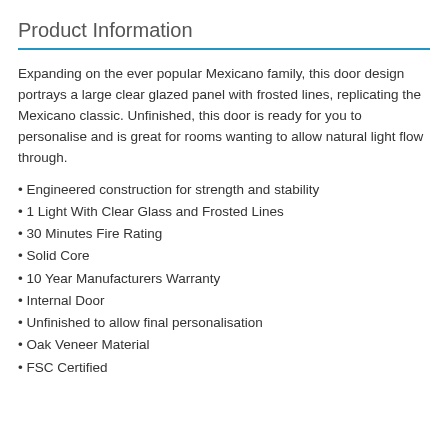Product Information
Expanding on the ever popular Mexicano family, this door design portrays a large clear glazed panel with frosted lines, replicating the Mexicano classic. Unfinished, this door is ready for you to personalise and is great for rooms wanting to allow natural light flow through.
Engineered construction for strength and stability
1 Light With Clear Glass and Frosted Lines
30 Minutes Fire Rating
Solid Core
10 Year Manufacturers Warranty
Internal Door
Unfinished to allow final personalisation
Oak Veneer Material
FSC Certified